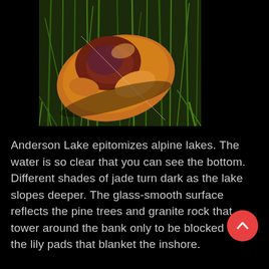[Figure (photo): Close-up photograph of a mushroom cap lying among green grass blades. The mushroom cap is orange-amber colored with a dark reddish-brown center, visible on a background of thin green pine needles.]
Anderson Lake epitomizes alpine lakes. The water is so clear that you can see the bottom. Different shades of jade turn dark as the lake slopes deeper. The glass-smooth surface reflects the pine trees and granite rock that tower around the bank only to be blocked by the lily pads that blanket the inshore.